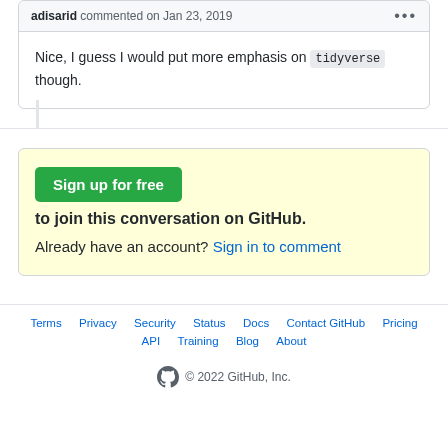adisarid commented on Jan 23, 2019
Nice, I guess I would put more emphasis on tidyverse though.
Sign up for free to join this conversation on GitHub. Already have an account? Sign in to comment
Terms  Privacy  Security  Status  Docs  Contact GitHub  Pricing  API  Training  Blog  About
© 2022 GitHub, Inc.